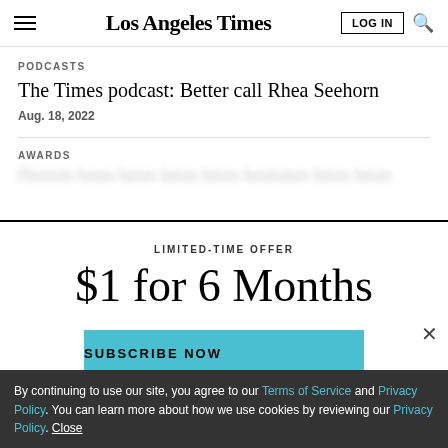Los Angeles Times
PODCASTS
The Times podcast: Better call Rhea Seehorn
Aug. 18, 2022
AWARDS
LIMITED-TIME OFFER
$1 for 6 Months
SUBSCRIBE NOW
By continuing to use our site, you agree to our Terms of Service and Privacy Policy. You can learn more about how we use cookies by reviewing our Privacy Policy. Close